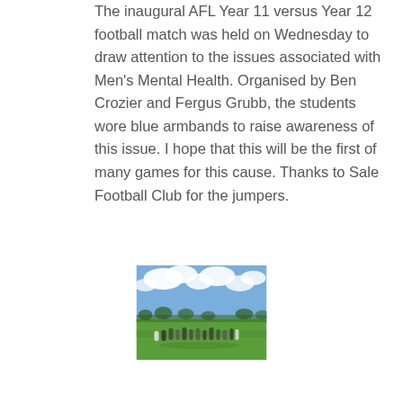The inaugural AFL Year 11 versus Year 12 football match was held on Wednesday to draw attention to the issues associated with Men's Mental Health. Organised by Ben Crozier and Fergus Grubb, the students wore blue armbands to raise awareness of this issue. I hope that this will be the first of many games for this cause. Thanks to Sale Football Club for the jumpers.
[Figure (photo): Outdoor photo of students in sports uniforms grouped together on a green football oval, with a partly cloudy blue sky in the background and trees along the horizon.]